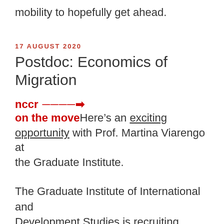mobility to hopefully get ahead.
17 AUGUST 2020
Postdoc: Economics of Migration
nccr → on the move Here’s an exciting opportunity with Prof. Martina Viarengo at the Graduate Institute.
The Graduate Institute of International and Development Studies is recruiting